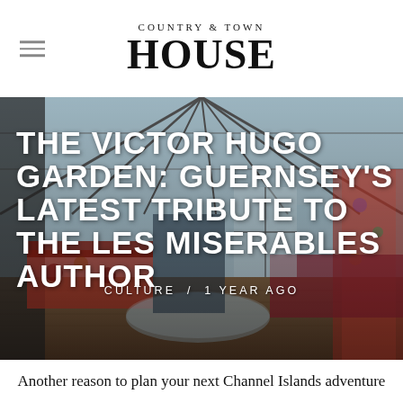COUNTRY & TOWN HOUSE
[Figure (photo): Interior of Victor Hugo's house in Guernsey showing a glass conservatory room with ornate floral fabric-covered furniture, tapestries, wooden floors, and a glass ceiling letting in natural light.]
THE VICTOR HUGO GARDEN: GUERNSEY'S LATEST TRIBUTE TO THE LES MISERABLES AUTHOR
CULTURE / 1 YEAR AGO
Another reason to plan your next Channel Islands adventure